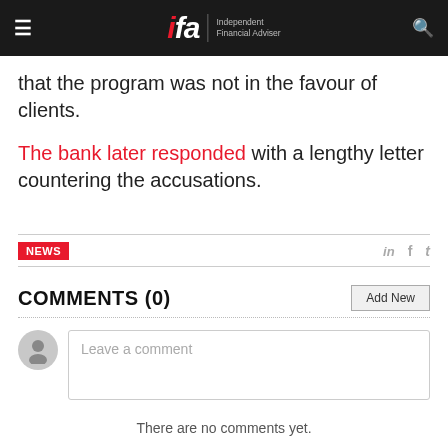ifa | Independent Financial Adviser
that the program was not in the favour of clients.
The bank later responded with a lengthy letter countering the accusations.
NEWS
COMMENTS (0)
Leave a comment
There are no comments yet.